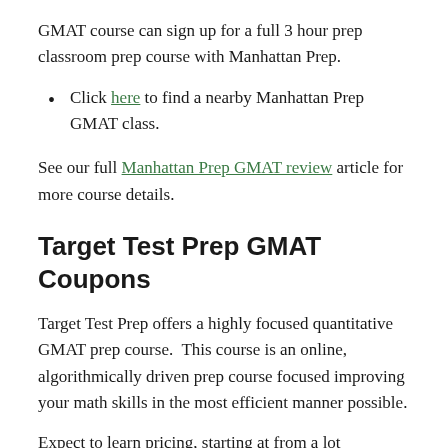GMAT course can sign up for a full 3 hour prep classroom prep course with Manhattan Prep.
Click here to find a nearby Manhattan Prep GMAT class.
See our full Manhattan Prep GMAT review article for more course details.
Target Test Prep GMAT Coupons
Target Test Prep offers a highly focused quantitative GMAT prep course.  This course is an online, algorithmically driven prep course focused improving your math skills in the most efficient manner possible.
Expect to learn pricing, starting at from a lot...